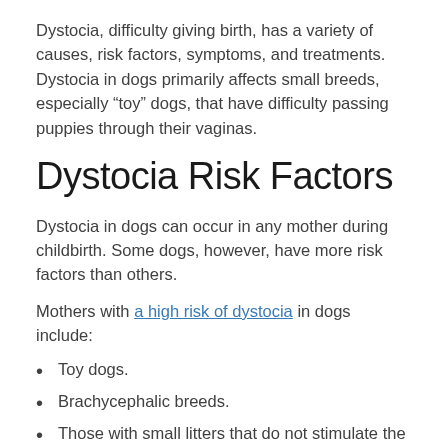Dystocia, difficulty giving birth, has a variety of causes, risk factors, symptoms, and treatments. Dystocia in dogs primarily affects small breeds, especially “toy” dogs, that have difficulty passing puppies through their vaginas.
Dystocia Risk Factors
Dystocia in dogs can occur in any mother during childbirth. Some dogs, however, have more risk factors than others.
Mothers with a high risk of dystocia in dogs include:
Toy dogs.
Brachycephalic breeds.
Those with small litters that do not stimulate the uterus.